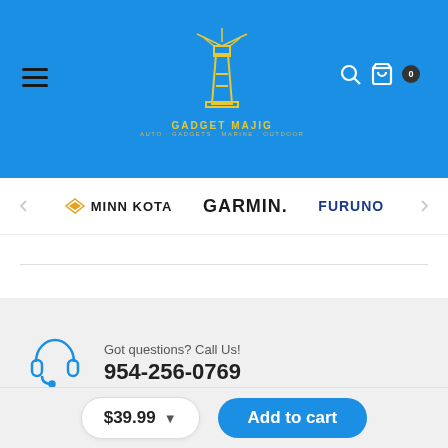[Figure (logo): Gadget Majig lighthouse logo in yellow on blue header background with hamburger menu, search and cart icons]
[Figure (logo): Brand logos bar showing Minn Kota, Garmin, and Furuno brand names]
[Figure (infographic): Headset icon in blue for customer support contact section]
Got questions? Call Us!
954-256-0769
[Figure (infographic): Social media icons for Facebook, Instagram, and Pinterest]
$39.99
Add to cart